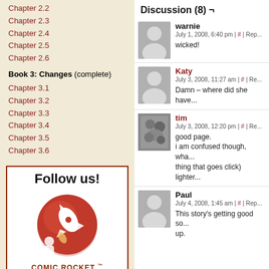Chapter 2.2
Chapter 2.3
Chapter 2.4
Chapter 2.5
Chapter 2.6
Book 3: Changes (complete)
Chapter 3.1
Chapter 3.2
Chapter 3.3
Chapter 3.4
Chapter 3.5
Chapter 3.6
[Figure (logo): Follow us! Comic Rocket logo with rocket illustration in red circle]
Discussion (8) ¬
warnie
July 1, 2008, 6:40 pm | # | Rep...
wicked!
Katy
July 3, 2008, 11:27 am | # | Re...
Damn – where did she have...
tim
July 3, 2008, 12:20 pm | # | Re...
good page.
i am confused though, wha... thing that goes click) lighter...
Paul
July 4, 2008, 1:45 am | # | Rep...
This story's getting good so... up.